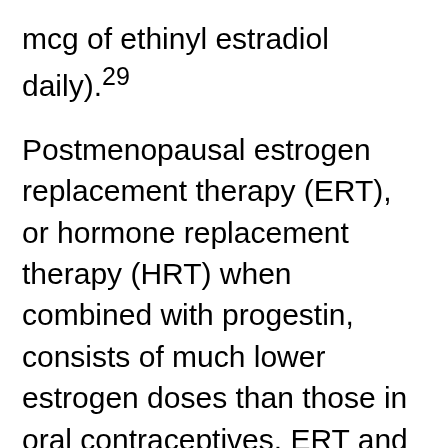mcg of ethinyl estradiol daily).29
Postmenopausal estrogen replacement therapy (ERT), or hormone replacement therapy (HRT) when combined with progestin, consists of much lower estrogen doses than those in oral contraceptives. ERT and HRT appear to have a neutral effect on blood pressure as illustrated by the following observations from two large randomized trials. The